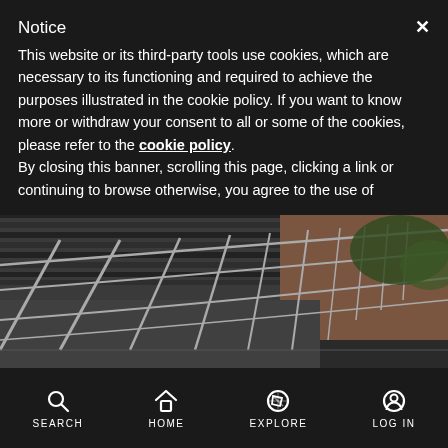Notice
This website or its third-party tools use cookies, which are necessary to its functioning and required to achieve the purposes illustrated in the cookie policy. If you want to know more or withdraw your consent to all or some of the cookies, please refer to the cookie policy.
By closing this banner, scrolling this page, clicking a link or continuing to browse otherwise, you agree to the use of
[Figure (photo): Photo of an industrial walkway or bridge with metal railings, a corrugated metal roof, and a brick building in the background with greenery — dark toned photograph]
CHAOS - Siri Factory Arts Center
Terni, Umbria, Italy
SEARCH  HOME  EXPLORE  LOG IN